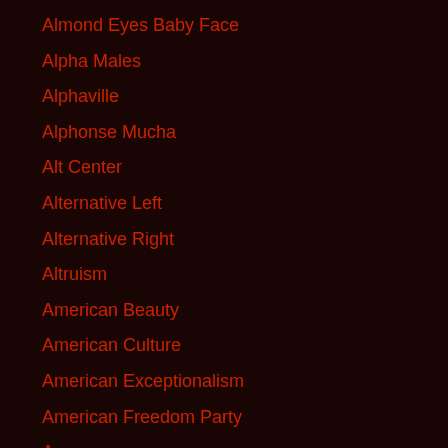Almond Eyes Baby Face
Alpha Males
Alphaville
Alphonse Mucha
Alt Center
Alternative Left
Alternative Right
Altruism
American Beauty
American Culture
American Exceptionalism
American Freedom Party
Amren
Anarchism
Anarcho Tyranny